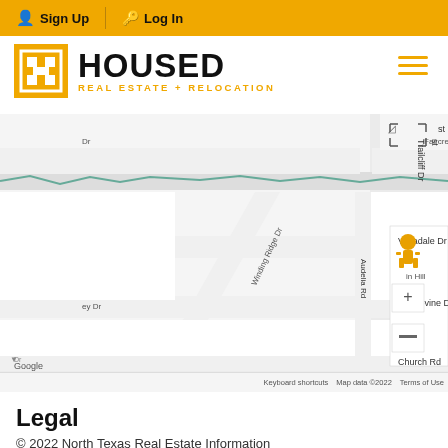Sign Up | Log In
[Figure (logo): Housed Real Estate + Relocation logo with H icon in gold square]
[Figure (map): Google Maps view showing streets: Faircrest Dr, Vistadale Dr, Tanglevine Dr, Audelia Rd, Church Rd, Winding Ridge Dr, with a house marker pin. Map controls (zoom +/-) and street view pegman visible. Shows 'Keyboard shortcuts', 'Map data ©2022', 'Terms of Use' at bottom.]
Legal
© 2022 North Texas Real Estate Information